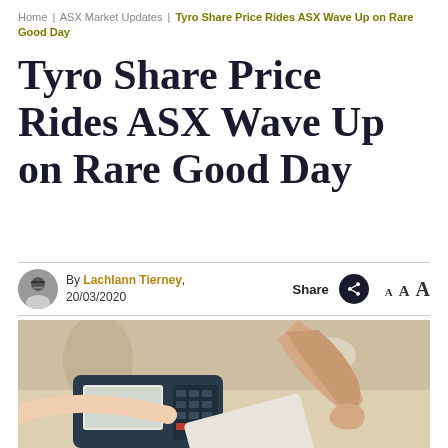Home | ASX Market Updates | Tyro Share Price Rides ASX Wave Up on Rare Good Day
Tyro Share Price Rides ASX Wave Up on Rare Good Day
By Lachlann Tierney, 20/03/2020
[Figure (photo): A person pressing buttons on a card payment terminal while holding a credit card, with a blurred background showing another person.]